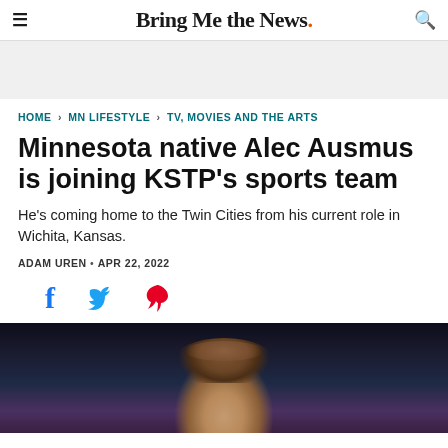Bring Me the News.
(advertisement banner)
HOME > MN LIFESTYLE > TV, MOVIES AND THE ARTS
Minnesota native Alec Ausmus is joining KSTP's sports team
He's coming home to the Twin Cities from his current role in Wichita, Kansas.
ADAM UREN • APR 22, 2022
[Figure (infographic): Social sharing icons: Facebook (blue f), Twitter (blue bird), Pinterest (red P)]
[Figure (photo): Photo of Alec Ausmus, a man with light brown hair, shown from the shoulders up against a dark blurred background with studio lighting.]